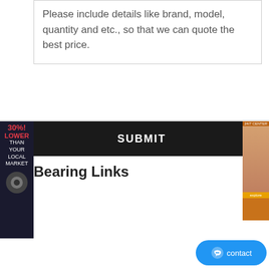Please include details like brand, model, quantity and etc., so that we can quote the best price.
[Figure (other): Submit button in black bar]
[Figure (other): 30% LOWER THAN YOUR LOCAL MARKET sidebar ad with bearing gear icon]
[Figure (other): Right side advertisement banner with woman image]
Bearing Links
Buy Deep groove ball bearings · 6416-M · FAG · 80x200x48
FAG Cylindrical roller bearings NU310-E-M1-C3 – SIFT
FAG 7303B/700608 Latvia - FAG Bearings Support - HZS
INA BCH2016 Lafayette | INA Bearing Dallas - INA
KOYO 7211C bearing - 7211CDF,22311CCK/W33 H2311 Bearings
NN3072C1NAP4 NTN Bearing bearing online search bearing
N1011RSTP NSK Bearing cheap price bearing low bearing price
EE750502/751200 SYB Single Row Tapered Roller Bearings
specifications angular contact 7928C ball bearings NSK
NUP414 NTN Bearing professional bearing agent bearing precision quality
Timken HM804842/HM804810 single row tapere...
NTN NUP330 bearing, bearing dimensions 150mm*270mm*45mm
[Figure (other): Blue contact chat bubble button]